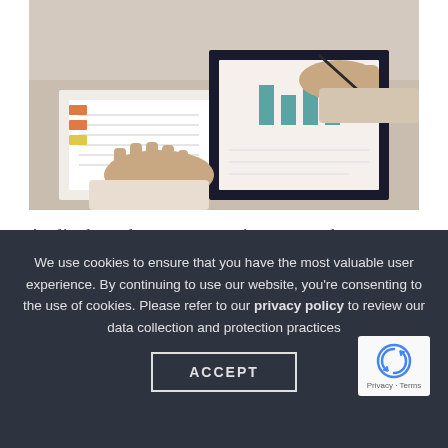[Figure (photo): Two people working on financial documents on a desk, one typing on keyboard and one writing with a pen]
Audits have become more important due to increased public and government scrutiny of not-for-profit organizations, their management, and their boards. Audits not only provide you with a fair
We use cookies to ensure that you have the most valuable user experience. By continuing to use our website, you're consenting to the use of cookies. Please refer to our privacy policy to review our data collection and protection practices
ACCEPT